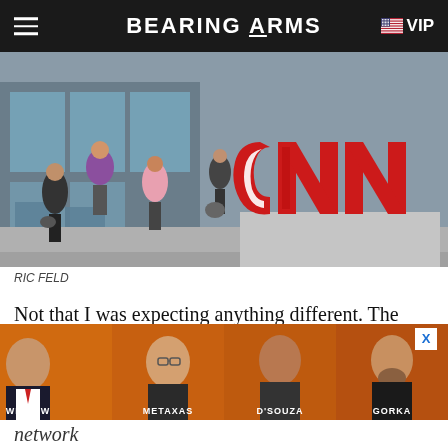BEARING ARMS
[Figure (photo): People walking in front of a large red CNN logo sculpture outside the CNN building]
RIC FELD
Not that I was expecting anything different. The cable network takes a consistently hostile tone to the right to keep and bear arms in its programming, even as its ratings slide into public access territory. According to the Washington Examiner’s Becket Adams, CNN averaged 487,000 total viewers last month, a 65% drop compared to October of 2020. In the all-important 25-5
[Figure (infographic): Advertisement banner showing four TV personalities: Wilkow, Metaxas, D'Souza, Gorka on an orange background]
network